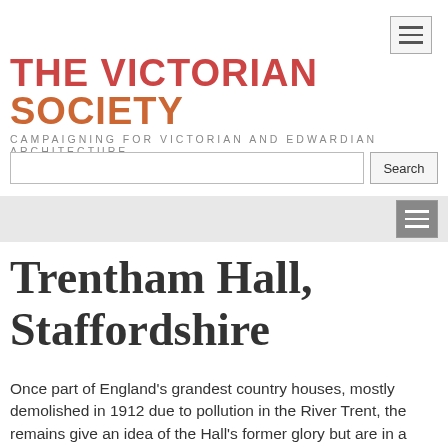THE VICTORIAN SOCIETY — CAMPAIGNING FOR VICTORIAN AND EDWARDIAN ARCHITECTURE
Trentham Hall, Staffordshire
Once part of England's grandest country houses, mostly demolished in 1912 due to pollution in the River Trent, the remains give an idea of the Hall's former glory but are in a very poor state